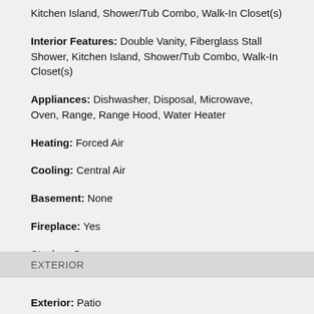Kitchen Island, Shower/Tub Combo, Walk-In Closet(s)
Interior Features: Double Vanity, Fiberglass Stall Shower, Kitchen Island, Shower/Tub Combo, Walk-In Closet(s)
Appliances: Dishwasher, Disposal, Microwave, Oven, Range, Range Hood, Water Heater
Heating: Forced Air
Cooling: Central Air
Basement: None
Fireplace: Yes
Stories: One
EXTERIOR
Exterior: Patio